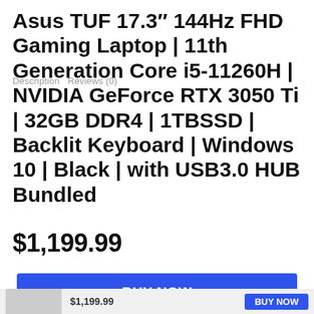Asus TUF 17.3″ 144Hz FHD Gaming Laptop | 11th Generation Core i5-11260H | NVIDIA GeForce RTX 3050 Ti | 32GB DDR4 | 1TBSSD | Backlit Keyboard | Windows 10 | Black | with USB3.0 HUB Bundled
Description   Reviews (0)
$1,199.99
BUY NOW